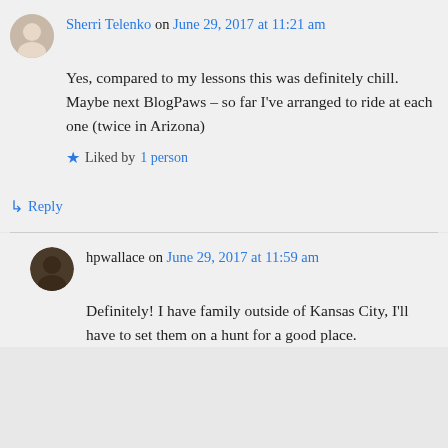Sherri Telenko on June 29, 2017 at 11:21 am
Yes, compared to my lessons this was definitely chill. Maybe next BlogPaws – so far I've arranged to ride at each one (twice in Arizona)
★ Liked by 1 person
↳ Reply
hpwallace on June 29, 2017 at 11:59 am
Definitely! I have family outside of Kansas City, I'll have to set them on a hunt for a good place.